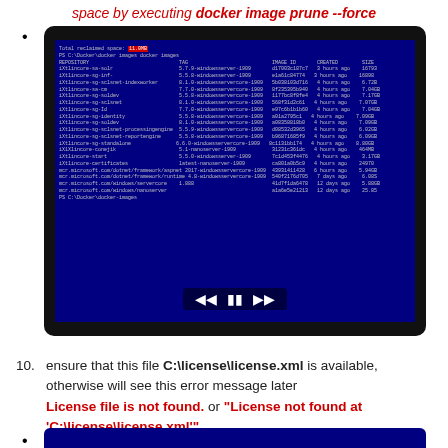space by executing docker image prune --force
[Figure (screenshot): Terminal/command prompt screenshot showing docker images list with columns REPOSITORY, TAG, IMAGE ID, CREATED, SIZE. Shows a highlighted value 'Total reclaimed space: 11.0MB' at the top, followed by a list of docker images including ultincore, xtlincore, microsoft/dotnet entries. Media playback controls visible at the bottom.]
10. ensure that this file C:\license\license.xml is available, otherwise will see this error message later License file is not found. or "License not found at 'C:\license\license.xml'"
[Figure (screenshot): Partial screenshot of another terminal/command window (bottom of page, cropped)]